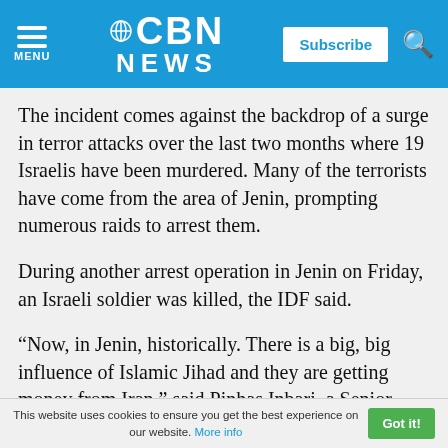CBN NEWS
The incident comes against the backdrop of a surge in terror attacks over the last two months where 19 Israelis have been murdered. Many of the terrorists have come from the area of Jenin, prompting numerous raids to arrest them.
During another arrest operation in Jenin on Friday, an Israeli soldier was killed, the IDF said.
“Now, in Jenin, historically. There is a big, big influence of Islamic Jihad and they are getting money from Iran,” said Pinhas Inbari, a Senior
This website uses cookies to ensure you get the best experience on our website. More info